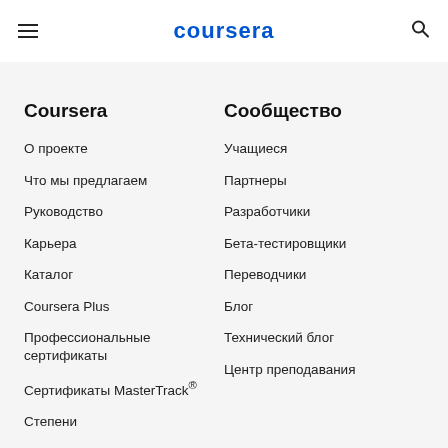coursera
Coursera
О проекте
Что мы предлагаем
Руководство
Карьера
Каталог
Coursera Plus
Профессиональные сертификаты
Сертификаты MasterTrack®
Степени
Для организаций
Сообщество
Учащиеся
Партнеры
Разработчики
Бета-тестировщики
Переводчики
Блог
Технический блог
Центр преподавания